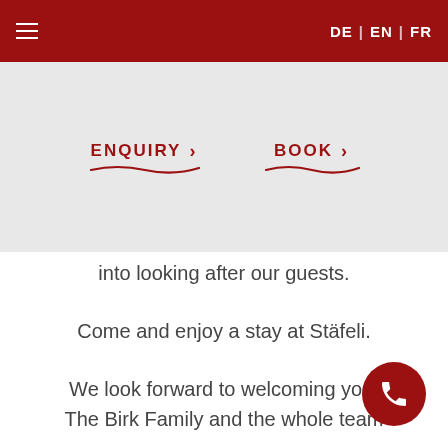≡   DE | EN | FR
[Figure (screenshot): Navigation buttons: ENQUIRY and BOOK with chevrons and red underlines on a gray background]
into looking after our guests.
Come and enjoy a stay at Stäfeli.
We look forward to welcoming you!
The Birk Family and the whole team